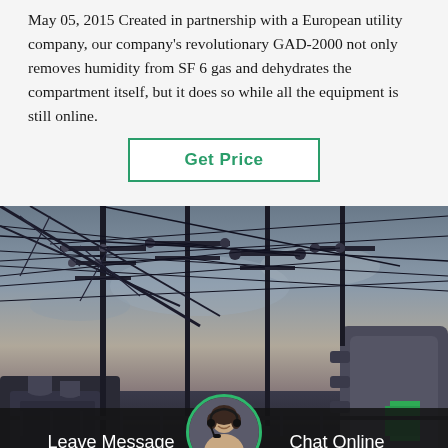May 05, 2015 Created in partnership with a European utility company, our company's revolutionary GAD-2000 not only removes humidity from SF 6 gas and dehydrates the compartment itself, but it does so while all the equipment is still online.
Get Price
[Figure (photo): Electrical substation with high-voltage transmission lines, insulators, poles, and industrial equipment photographed at dusk/dawn with dramatic sky.]
Leave Message
Chat Online